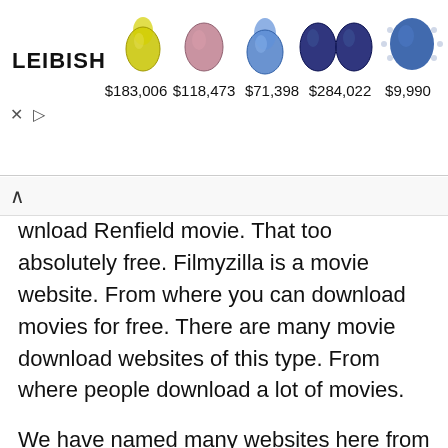[Figure (advertisement): Leibish jewelry advertisement banner showing 5 gemstones (yellow pear, pink oval, blue pear, two dark blue ovals, blue sapphire ring) with prices: $183,006, $118,473, $71,398, $284,022, $9,990]
wnload Renfield movie. That too absolutely free. Filmyzilla is a movie website. From where you can download movies for free. There are many movie download websites of this type. From where people download a lot of movies.
We have named many websites here from where you can download Renfield movies. Tamilrockers is a very popular website. From here you can download Renfield movie absolutely for free. Renfield Movie Download